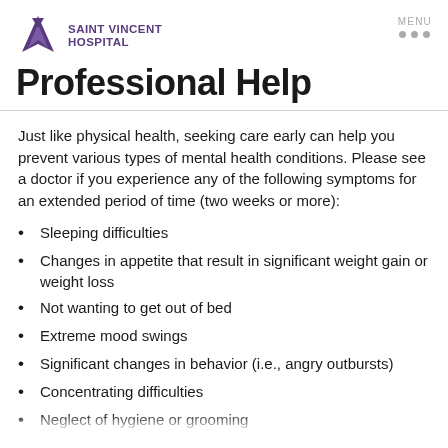Saint Vincent Hospital — MENU
Professional Help
Just like physical health, seeking care early can help you prevent various types of mental health conditions. Please see a doctor if you experience any of the following symptoms for an extended period of time (two weeks or more):
Sleeping difficulties
Changes in appetite that result in significant weight gain or weight loss
Not wanting to get out of bed
Extreme mood swings
Significant changes in behavior (i.e., angry outbursts)
Concentrating difficulties
Neglect of hygiene or grooming